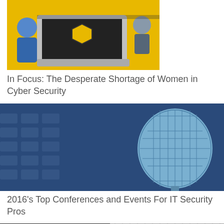[Figure (photo): Illustration of a woman in blue uniform working on a laptop with yellow/black cybersecurity themed background]
In Focus: The Desperate Shortage of Women in Cyber Security
[Figure (photo): Close-up of a blue metallic microphone against a blue-tinted background of empty auditorium seats]
2016's Top Conferences and Events For IT Security Pros
[Figure (photo): Partial view of a conference or event scene with a screen and microphone, partially visible at bottom of page]